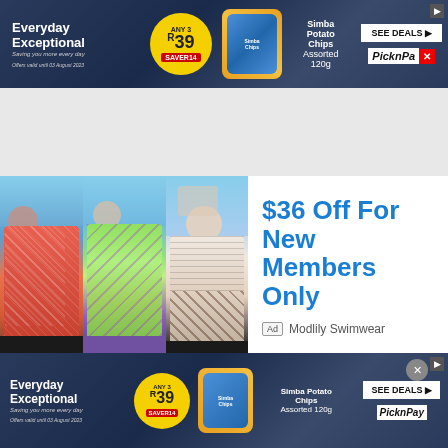[Figure (screenshot): Pick n Pay 'Everyday Exceptional' banner ad showing Simba Potato Chips Any 3 for R39 deal with SEE DEALS button]
[Figure (screenshot): Modlily Swimwear ad showing three women in tank tops/swimwear with text '$36 Off For New Members Only']
[Figure (screenshot): Video ad thumbnail: 'Rescue the Perishing Care for the Dying #7 with Daniel Whyte III' showing person with glasses looking down]
[Figure (screenshot): Pick n Pay 'Everyday Exceptional' bottom banner ad showing Simba Potato Chips Any 3 for R39 deal with SEE DEALS button and close button]